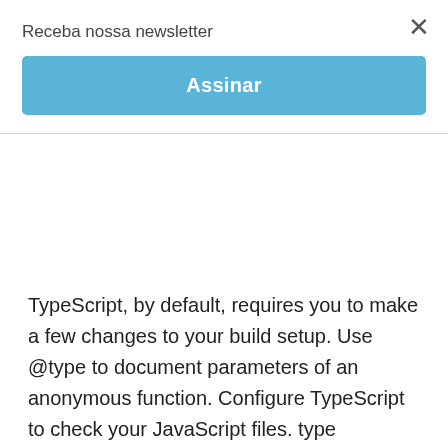Receba nossa newsletter
[Figure (other): Blue 'Assinar' (Subscribe) button]
TypeScript, by default, requires you to make a few changes to your build setup. Use @type to document parameters of an anonymous function. Configure TypeScript to check your JavaScript files. type arguments acan only be used in a .ts file, 'type arguments' can only be used in a .ts file, Type annotations can only be used in TypeScript files in vs code with file @flow, type annotations can only be used in typescript files, Type annotations can only be used in TypeScript files graphql error, Type annotations can only be used in TypeScript files ts(8010) in eslint. Type annotations can only be used